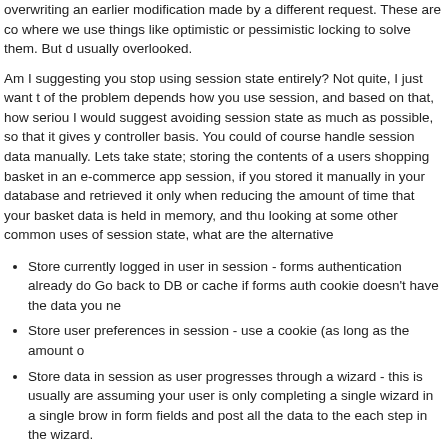overwriting an earlier modification made by a different request. These are co where we use things like optimistic or pessimistic locking to solve them. But d usually overlooked.
Am I suggesting you stop using session state entirely? Not quite, I just want t of the problem depends how you use session, and based on that, how seriou I would suggest avoiding session state as much as possible, so that it gives y controller basis. You could of course handle session data manually. Lets take state; storing the contents of a users shopping basket in an e-commerce app session, if you stored it manually in your database and retrieved it only when reducing the amount of time that your basket data is held in memory, and thu looking at some other common uses of session state, what are the alternative
Store currently logged in user in session - forms authentication already do Go back to DB or cache if forms auth cookie doesn't have the data you ne
Store user preferences in session - use a cookie (as long as the amount o
Store data in session as user progresses through a wizard - this is usually are assuming your user is only completing a single wizard in a single brow in form fields and post all the data to the each step in the wizard.